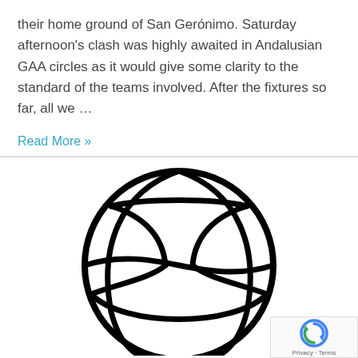their home ground of San Gerónimo. Saturday afternoon's clash was highly awaited in Andalusian GAA circles as it would give some clarity to the standard of the teams involved. After the fixtures so far, all we ...
Read More »
[Figure (illustration): A black and white line drawing of a volleyball, showing the characteristic curved panel seams on a circular ball outline.]